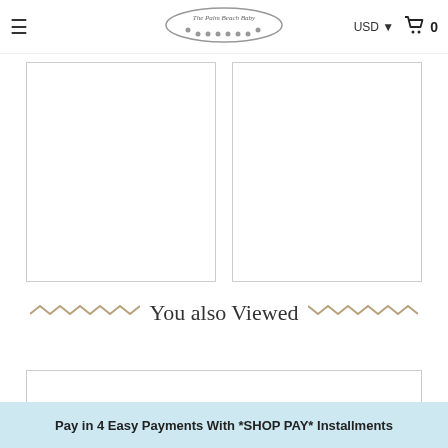≡  The Palm Beach Baby  USD ▾ 🛒 0
[Figure (photo): Left product image placeholder (empty white box with border)]
[Figure (photo): Right product image placeholder (empty white box with border)]
You also Viewed
[Figure (photo): Bottom product strip placeholder (empty white box with border)]
Pay in 4 Easy Payments With *SHOP PAY* Installments